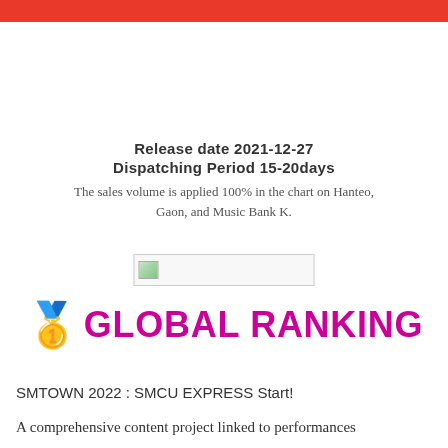Release date  2021-12-27
Dispatching Period 15-20days
The sales volume is applied 100% in the chart on Hanteo, Gaon, and Music Bank K.
[Figure (photo): Broken/placeholder image]
🥇 GLOBAL RANKING
SMTOWN 2022 : SMCU EXPRESS Start!
A comprehensive content project linked to performances